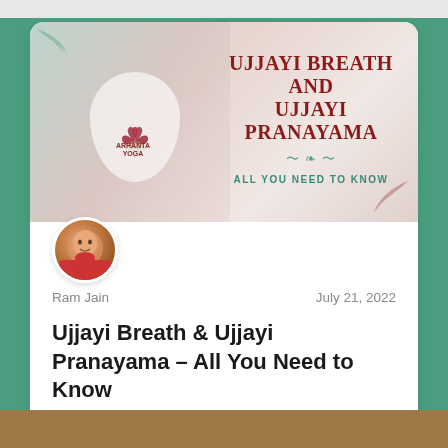[Figure (illustration): Blog article card with a yoga/pranayama banner image showing people doing yoga with overlay text 'UJJAYI BREATH AND UJJAYI PRANAYAMA - ALL YOU NEED TO KNOW' and Arhanta Yoga branding, on a teal/green background.]
Ram Jain
July 21, 2022
Ujjayi Breath & Ujjayi Pranayama – All You Need to Know